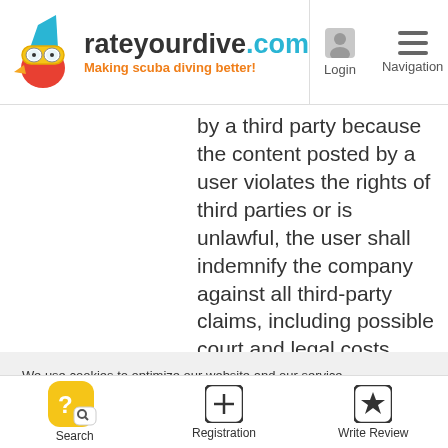[Figure (logo): rateyourdive.com logo with scuba diver mascot, tagline 'Making scuba diving better!']
by a third party because the content posted by a user violates the rights of third parties or is unlawful, the user shall indemnify the company against all third-party claims, including possible court and legal costs.
We use cookies to optimize our website and our service.
Accept cookies
Deny
View preferences
[Figure (screenshot): Bottom navigation bar with Search (yellow chat icon), Registration (plus icon), Write Review (star icon)]